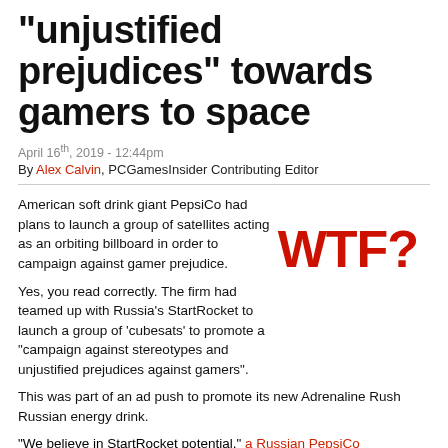"unjustified prejudices" towards gamers to space
April 16th, 2019 - 12:44pm
By Alex Calvin, PCGamesInsider Contributing Editor
American soft drink giant PepsiCo had plans to launch a group of satellites acting as an orbiting billboard in order to campaign against gamer prejudice.
[Figure (other): Large bold red text reading 'WTF?']
Yes, you read correctly. The firm had teamed up with Russia's StartRocket to launch a group of 'cubesats' to promote a "campaign against stereotypes and unjustified prejudices against gamers".
This was part of an ad push to promote its new Adrenaline Rush Russian energy drink.
"We believe in StartRocket potential," a Russian PepsiCo spokesperson told Futurism.
"Orbital billboards are the revolution on the market of communications. That's why on behalf of Adrenaline Rush - PepsiCo Russia energy non-alcoholic drink, which is brand innovator, and supports everything new, and non-standard — we agreed on this partnership."